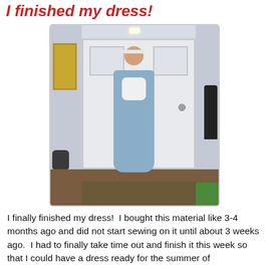I finished my dress!
[Figure (photo): A woman wearing a long light blue dress, holding a white cat, standing in front of a white door in a home entryway. A dark cat is visible at lower left. A jacket hangs on the right. A picture frame is on the left wall.]
I finally finished my dress!  I bought this material like 3-4 months ago and did not start sewing on it until about 3 weeks ago.  I had to finally take time out and finish it this week so that I could have a dress ready for the summer of